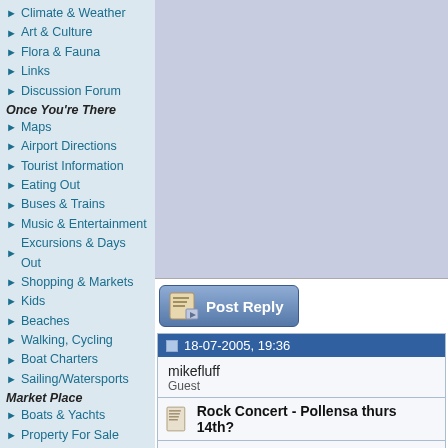Climate & Weather
Art & Culture
Flora & Fauna
Links
Discussion Forum
Once You're There
Maps
Airport Directions
Tourist Information
Eating Out
Buses & Trains
Music & Entertainment
Excursions & Days Out
Shopping & Markets
Kids
Beaches
Walking, Cycling
Boat Charters
Sailing/Watersports
Market Place
Boats & Yachts
Property For Sale
Businesses For Sale
Property Services
Local Services
MouseMats & T-shirts
Computers
Internet Services
Virus Protection
[Figure (other): Advertisement/image placeholder area with blue-grey background]
[Figure (other): Post Reply button with blue gradient background and document icon]
18-07-2005, 19:36
mikefluff
Guest
Rock Concert - Pollensa thurs 14th?
Was anyone else amazed about this concert, we arrived back in our villa about 11pm. We could hear some music, we first thought as it was so loud it must be one of the near by